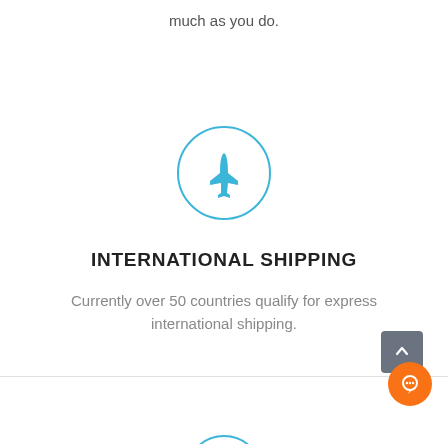much as you do.
[Figure (illustration): Airplane icon inside a thin blue circle]
INTERNATIONAL SHIPPING
Currently over 50 countries qualify for express international shipping.